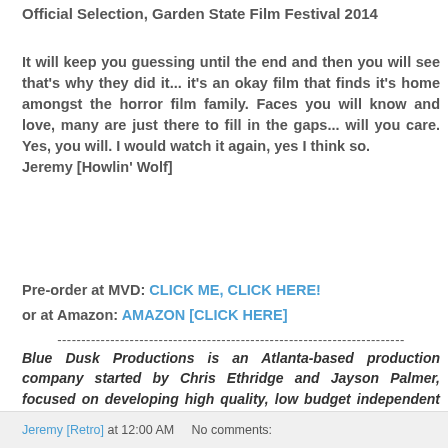Official Selection, Garden State Film Festival 2014
It will keep you guessing until the end and then you will see that's why they did it... it's an okay film that finds it's home amongst the horror film family. Faces you will know and love, many are just there to fill in the gaps... will you care. Yes, you will. I would watch it again, yes I think so.
Jeremy [Howlin' Wolf]
Pre-order at MVD: CLICK ME, CLICK HERE!
or at Amazon: AMAZON [CLICK HERE]
------------------------------------------------------------------------
Blue Dusk Productions is an Atlanta-based production company started by Chris Ethridge and Jayson Palmer, focused on developing high quality, low budget independent films. Attack of the Morningside Monster is the inaugural release from the company.
Jeremy [Retro] at 12:00 AM   No comments: